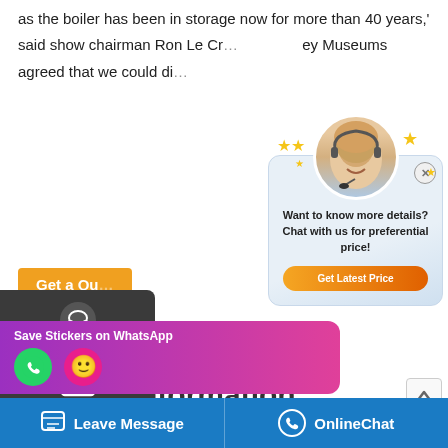as the boiler has been in storage now for more than 40 years,' said show chairman Ron Le Cr… …ey Museums agreed that we could di…
[Figure (screenshot): Chat popup with avatar, stars, text 'Want to know more details? Chat with us for preferential price!' and 'Get Latest Price' button]
Related Information
…ized Horizontal Electric Steam Hot Water Boilers
…oiler
[Figure (screenshot): WhatsApp sticker save popup with phone and emoji icons]
Leave Message | OnlineChat